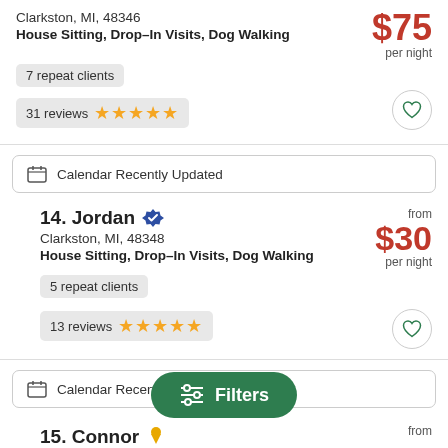Clarkston, MI, 48346
House Sitting, Drop–In Visits, Dog Walking
$75 per night
7 repeat clients
31 reviews ★★★★★
Calendar Recently Updated
14. Jordan — Clarkston, MI, 48348 — House Sitting, Drop–In Visits, Dog Walking — from $30 per night
5 repeat clients
13 reviews ★★★★★
Calendar Recently Updated
15. Connor — White Lake, MI, 48386 — from $28
Filters